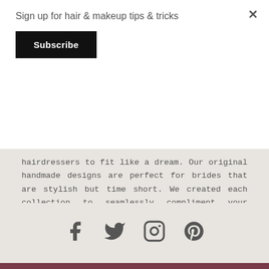Sign up for hair & makeup tips & tricks
Subscribe
hairdressers to fit like a dream. Our original handmade designs are perfect for brides that are stylish but time short. We created each collection to seamlessly compliment your wedding dress and day.
CLICK HERE
[Figure (infographic): Social media icons: Facebook, Twitter, Instagram, Pinterest]
Want to be part of our artist team?
JOIN OUR TEAM HERE